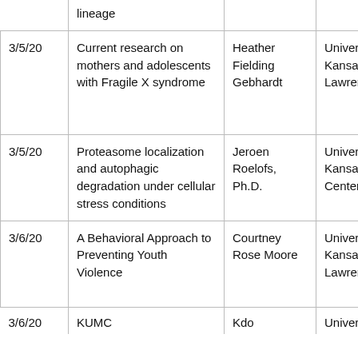| Date | Title | Presenter | Institution | Topic |
| --- | --- | --- | --- | --- |
|  | lineage |  |  |  |
| 3/5/20 | Current research on mothers and adolescents with Fragile X syndrome | Heather Fielding Gebhardt | University of Kansas – Lawrence | Chi Lan Doc Pro Pro |
| 3/5/20 | Proteasome localization and autophagic degradation under cellular stress conditions | Jeroen Roelofs, Ph.D. | University of Kansas Medical Center | Ana Cel Sen |
| 3/6/20 | A Behavioral Approach to Preventing Youth Violence | Courtney Rose Moore | University of Kansas - Lawrence | App Beh Scie Pro |
| 3/6/20 | KUMC | Kdo | University of | Mel |